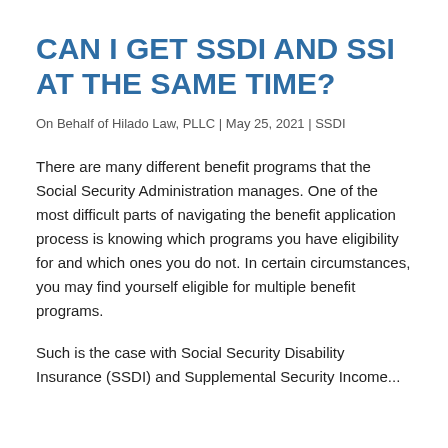CAN I GET SSDI AND SSI AT THE SAME TIME?
On Behalf of Hilado Law, PLLC | May 25, 2021 | SSDI
There are many different benefit programs that the Social Security Administration manages. One of the most difficult parts of navigating the benefit application process is knowing which programs you have eligibility for and which ones you do not. In certain circumstances, you may find yourself eligible for multiple benefit programs.
Such is the case with Social Security Disability Insurance (SSDI) and Supplemental Security Income...